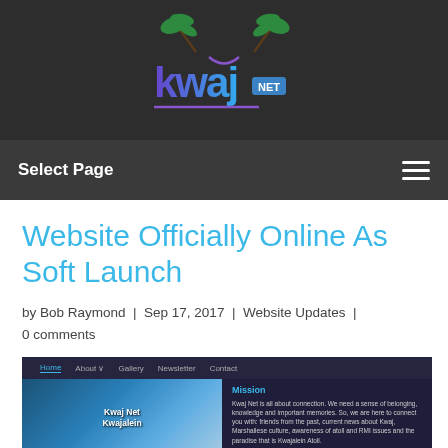[Figure (logo): KwajNet logo with palm trees graphic and stylized text 'kwaj NET' in blue/purple gradient on dark background]
Select Page
Website Officially Online As Soft Launch
by Bob Raymond | Sep 17, 2017 | Website Updates | 0 comments
[Figure (screenshot): Screenshot of the KwajNet website showing navigation bar with Home, About, Gallery, Newsletter, Contact links; an aerial image of Kwajalein Atoll with 'Kwaj Net Kwajalein' label; and a Mission section with text about connection and community]